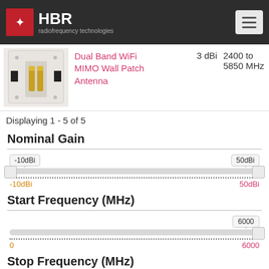HBR radiofrequency technologies
[Figure (photo): Product photo of Dual Band WiFi MIMO Wall Patch Antenna showing white panel with two gold connectors]
Dual Band WiFi MIMO Wall Patch Antenna  3 dBi  2400 to 5850 MHz
Displaying 1 - 5 of 5
Nominal Gain
[Figure (other): Range slider for Nominal Gain from -10dBi to 50dBi]
Start Frequency (MHz)
[Figure (other): Range slider for Start Frequency with value 6000 MHz, range 0 to 6000]
Stop Frequency (MHz)